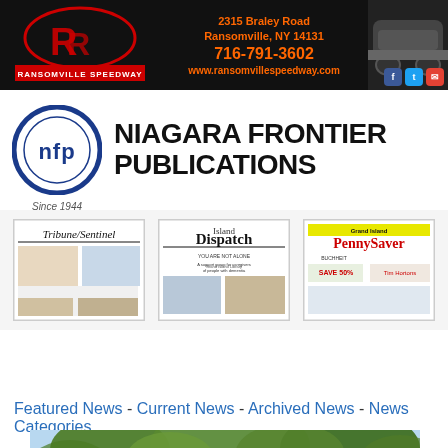[Figure (infographic): Ransomville Speedway banner with logo, contact info (2315 Braley Road, Ransomville, NY 14131, 716-791-3602, www.ransomvillespeedway.com), race car photo, and social media icons]
[Figure (logo): Niagara Frontier Publications logo with NFP circle emblem and text 'NIAGARA FRONTIER PUBLICATIONS Since 1944']
[Figure (photo): Three newspaper thumbnails: Tribune/Sentinel, Island Dispatch, and Grand Island PennySaver]
Navigation
Featured News - Current News - Archived News - News Categories
[Figure (photo): Photo of trees with spring foliage against sky]